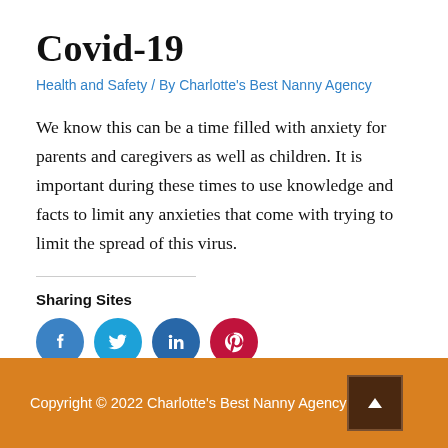Covid-19
Health and Safety / By Charlotte's Best Nanny Agency
We know this can be a time filled with anxiety for parents and caregivers as well as children. It is important during these times to use knowledge and facts to limit any anxieties that come with trying to limit the spread of this virus.
Sharing Sites
[Figure (infographic): Social sharing icon buttons: Facebook (blue circle), Twitter (light blue circle), LinkedIn (dark blue circle), Pinterest (red circle)]
Copyright © 2022 Charlotte's Best Nanny Agency